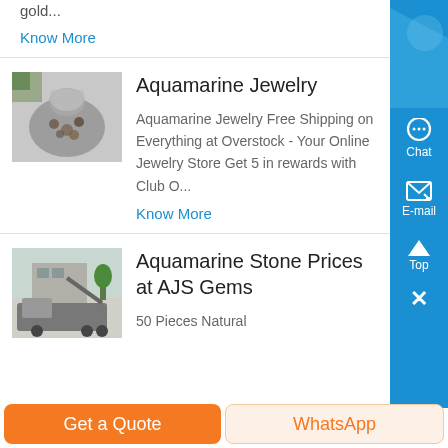gold...
Know More
[Figure (photo): Bag of raw stones or minerals]
Aquamarine Jewelry
Aquamarine Jewelry Free Shipping on Everything at Overstock - Your Online Jewelry Store Get 5 in rewards with Club O...
Know More
[Figure (photo): Industrial machinery or stone crushing equipment]
Aquamarine Stone Prices at AJS Gems
50 Pieces Natural
Get a Quote
WhatsApp